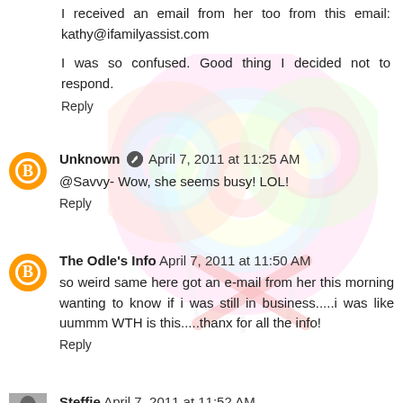I received an email from her too from this email: kathy@ifamilyassist.com
I was so confused. Good thing I decided not to respond.
Reply
Unknown  April 7, 2011 at 11:25 AM
@Savvy- Wow, she seems busy! LOL!
Reply
The Odle's Info  April 7, 2011 at 11:50 AM
so weird same here got an e-mail from her this morning wanting to know if i was still in business.....i was like uummm WTH is this.....thanx for all the info!
Reply
Steffie  April 7, 2011 at 11:52 AM
[Figure (photo): Watermark of colorful lollipops in background]